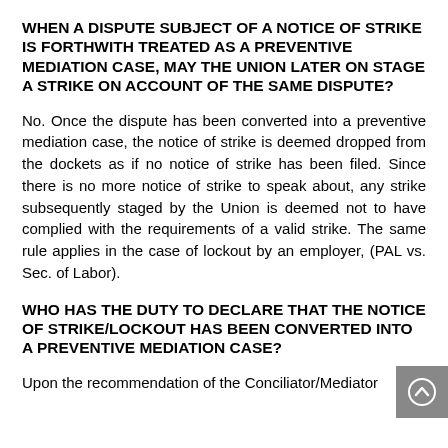WHEN A DISPUTE SUBJECT OF A NOTICE OF STRIKE IS FORTHWITH TREATED AS A PREVENTIVE MEDIATION CASE, MAY THE UNION LATER ON STAGE A STRIKE ON ACCOUNT OF THE SAME DISPUTE?
No. Once the dispute has been converted into a preventive mediation case, the notice of strike is deemed dropped from the dockets as if no notice of strike has been filed. Since there is no more notice of strike to speak about, any strike subsequently staged by the Union is deemed not to have complied with the requirements of a valid strike. The same rule applies in the case of lockout by an employer, (PAL vs. Sec. of Labor).
WHO HAS THE DUTY TO DECLARE THAT THE NOTICE OF STRIKE/LOCKOUT HAS BEEN CONVERTED INTO A PREVENTIVE MEDIATION CASE?
Upon the recommendation of the Conciliator/Mediator